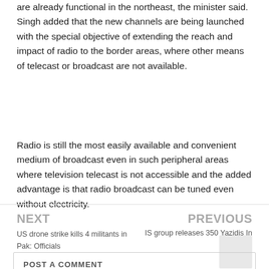are already functional in the northeast, the minister said. Singh added that the new channels are being launched with the special objective of extending the reach and impact of radio to the border areas, where other means of telecast or broadcast are not available.
Radio is still the most easily available and convenient medium of broadcast even in such peripheral areas where television telecast is not accessible and the added advantage is that radio broadcast can be tuned even without electricity.
NEXT
US drone strike kills 4 militants in Pak: Officials
PREVIOUS
IS group releases 350 Yazidis In Iraq
POST A COMMENT